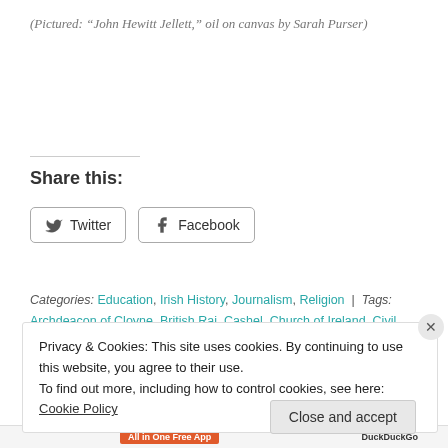(Pictured: “John Hewitt Jellett,” oil on canvas by Sarah Purser)
Share this:
Twitter  Facebook
Categories: Education, Irish History, Journalism, Religion | Tags: Archdeacon of Cloyne, British Raj, Cashel, Church of Ireland, Civil Engineer, County Cork, County Laois, County Tipperary, Court of Quarter Sessions, Cunningham Medal, Dublin, Eva Jellett, Gaiety Theatre, George Francis...
Privacy & Cookies: This site uses cookies. By continuing to use this website, you agree to their use.
To find out more, including how to control cookies, see here: Cookie Policy
Close and accept